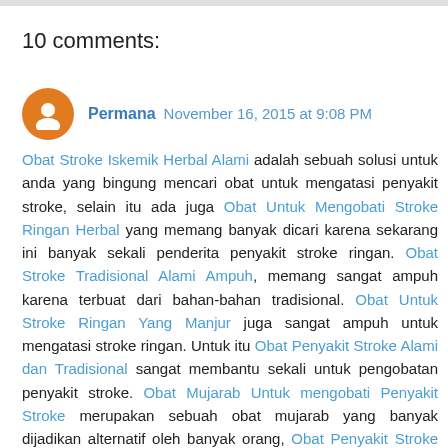10 comments:
Permana November 16, 2015 at 9:08 PM
Obat Stroke Iskemik Herbal Alami adalah sebuah solusi untuk anda yang bingung mencari obat untuk mengatasi penyakit stroke, selain itu ada juga Obat Untuk Mengobati Stroke Ringan Herbal yang memang banyak dicari karena sekarang ini banyak sekali penderita penyakit stroke ringan. Obat Stroke Tradisional Alami Ampuh, memang sangat ampuh karena terbuat dari bahan-bahan tradisional. Obat Untuk Stroke Ringan Yang Manjur juga sangat ampuh untuk mengatasi stroke ringan. Untuk itu Obat Penyakit Stroke Alami dan Tradisional sangat membantu sekali untuk pengobatan penyakit stroke. Obat Mujarab Untuk mengobati Penyakit Stroke merupakan sebuah obat mujarab yang banyak dijadikan alternatif oleh banyak orang, Obat Penyakit Stroke Alami dan Tradisional dan Obat Alami Untuk Mengobati Penyakit Stroke ini sudah banyak membantu orang-orang yang mengidap penyakit stroke dengan menggunakan Obat Untuk Penyakit Stroke